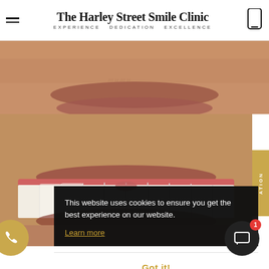The Harley Street Smile Clinic — EXPERIENCE DEDICATION EXCELLENCE
[Figure (photo): Close-up of a person's mouth/lips before dental treatment — upper lip and lip area visible]
[Figure (photo): Close-up of a person's mouth showing white teeth after dental treatment with a cookie consent overlay]
This website uses cookies to ensure you get the best experience on our website.
Learn more
Got it!
Free E-Consultation